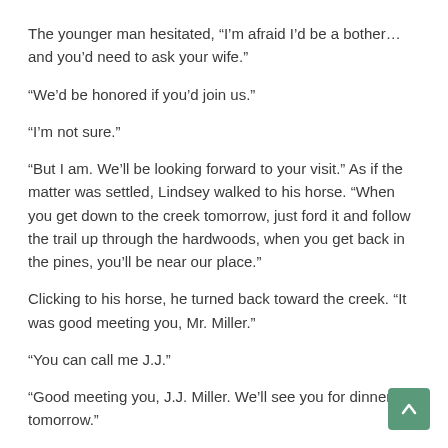The younger man hesitated, “I’m afraid I’d be a bother… and you’d need to ask your wife.”
“We’d be honored if you’d join us.”
“I’m not sure.”
“But I am. We’ll be looking forward to your visit.” As if the matter was settled, Lindsey walked to his horse. “When you get down to the creek tomorrow, just ford it and follow the trail up through the hardwoods, when you get back in the pines, you’ll be near our place.”
Clicking to his horse, he turned back toward the creek. “It was good meeting you, Mr. Miller.”
“You can call me J.J.”
“Good meeting you, J.J. Miller. We’ll see you for dinner tomorrow.”
“Thank you kindly, Mr. Lindsey.”